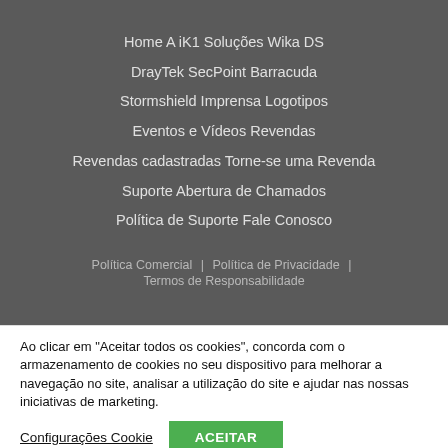Home | A iK1 | Soluções | Wika DS | DrayTek | SecPoint | Barracuda | Stormshield | Imprensa | Logotipos | Eventos e Vídeos | Revendas | Revendas cadastradas | Torne-se uma Revenda | Suporte | Abertura de Chamados | Política de Suporte | Fale Conosco
Política Comercial | Política de Privacidade | Termos de Responsabilidade
Ao clicar em "Aceitar todos os cookies", concorda com o armazenamento de cookies no seu dispositivo para melhorar a navegação no site, analisar a utilização do site e ajudar nas nossas iniciativas de marketing.
Configurações Cookie
ACEITAR
[Figure (logo): Google Translate logo and link]